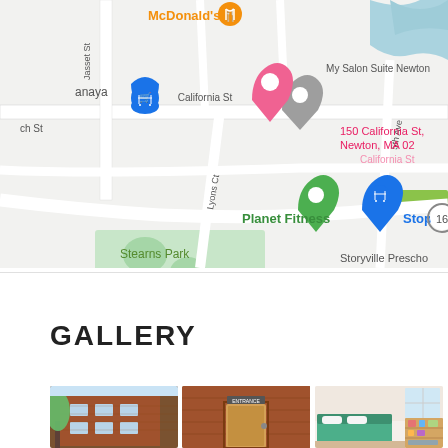[Figure (map): Google Maps screenshot showing area around 150 California St, Newton, MA 02. Visible landmarks include McDonald's, My Salon Suite Newton, Planet Fitness, Stop & Shop, Stearns Park, Storyville Preschool. Streets include California St, Jasset St, Lyons Ct, 5th Ave. Route 16 marker visible.]
GALLERY
[Figure (photo): Three gallery photos showing: exterior of brick apartment building with trees, building entrance/door, and interior bedroom/room with bed and shelving.]